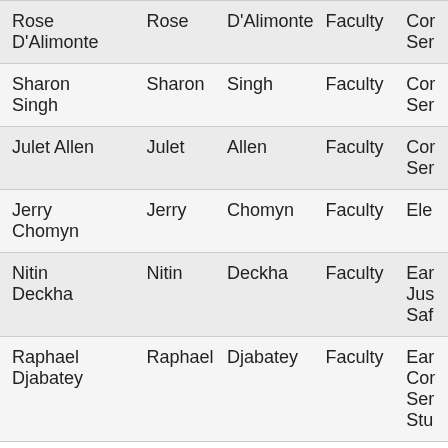| Full Name | First Name | Last Name | Role | ... |
| --- | --- | --- | --- | --- |
| Rose D'Alimonte | Rose | D'Alimonte | Faculty | Cor... Ser... |
| Sharon Singh | Sharon | Singh | Faculty | Cor... Ser... |
| Julet Allen | Julet | Allen | Faculty | Cor... Ser... |
| Jerry Chomyn | Jerry | Chomyn | Faculty | Ele... |
| Nitin Deckha | Nitin | Deckha | Faculty | Ear... Jus... Saf... |
| Raphael Djabatey | Raphael | Djabatey | Faculty | Ear... Cor... Ser... Stu... |